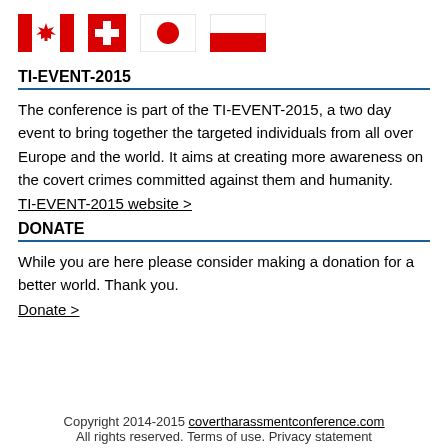[Figure (illustration): Four national flags in a row: Canada, Switzerland, Japan, Poland]
TI-EVENT-2015
The conference is part of the TI-EVENT-2015, a two day event to bring together the targeted individuals from all over Europe and the world. It aims at creating more awareness on the covert crimes committed against them and humanity.
TI-EVENT-2015 website >
DONATE
While you are here please consider making a donation for a better world. Thank you.
Donate >
Copyright 2014-2015 covertharassmentconference.com
All rights reserved. Terms of use. Privacy statement